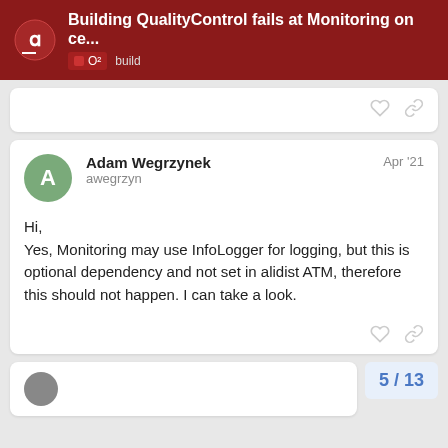Building QualityControl fails at Monitoring on ce... | O² build
Hi,
Yes, Monitoring may use InfoLogger for logging, but this is optional dependency and not set in alidist ATM, therefore this should not happen. I can take a look.
Adam Wegrzynek
awegrzyn
Apr '21
5 / 13